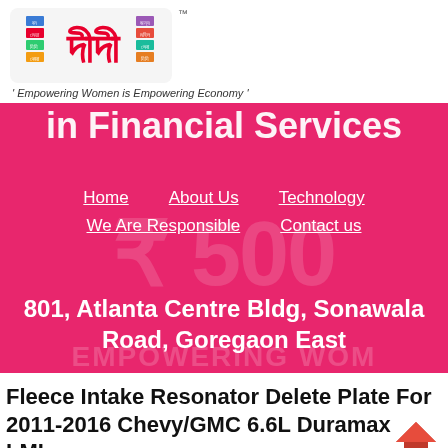[Figure (logo): Didi brand logo with Bengali script text on light gray rounded rectangle background with TM mark]
' Empowering Women is Empowering Economy '
[Figure (screenshot): Pink/magenta website banner with partial text 'in Financial Services', navigation links (Home, About Us, Technology, We Are Responsible, Contact us), and address '801, Atlanta Centre Bldg, Sonawala Road, Goregaon East' overlaid on pink background with watermark text]
Fleece Intake Resonator Delete Plate For 2011-2016 Chevy/GMC 6.6L Duramax LML